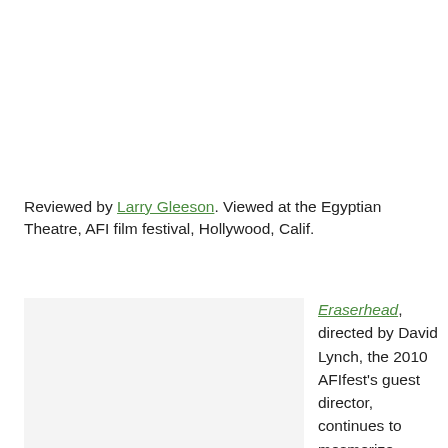Reviewed by Larry Gleeson. Viewed at the Egyptian Theatre, AFI film festival, Hollywood, Calif.
[Figure (photo): A cropped image placeholder (light gray box) showing a film still or related image, partially visible at bottom of page.]
Eraserhead, directed by David Lynch, the 2010 AFIfest's guest director, continues to mesmerize audiences with